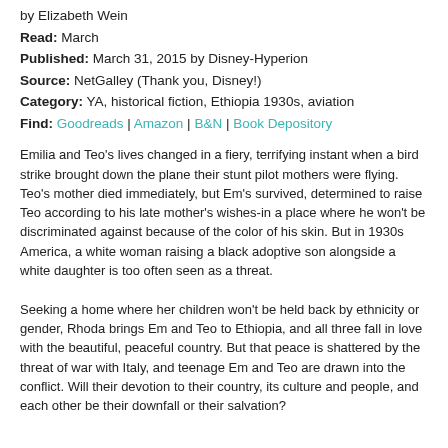by Elizabeth Wein
Read: March
Published: March 31, 2015 by Disney-Hyperion
Source: NetGalley (Thank you, Disney!)
Category: YA, historical fiction, Ethiopia 1930s, aviation
Find: Goodreads | Amazon | B&N | Book Depository
Emilia and Teo's lives changed in a fiery, terrifying instant when a bird strike brought down the plane their stunt pilot mothers were flying. Teo's mother died immediately, but Em's survived, determined to raise Teo according to his late mother's wishes-in a place where he won't be discriminated against because of the color of his skin. But in 1930s America, a white woman raising a black adoptive son alongside a white daughter is too often seen as a threat.
Seeking a home where her children won't be held back by ethnicity or gender, Rhoda brings Em and Teo to Ethiopia, and all three fall in love with the beautiful, peaceful country. But that peace is shattered by the threat of war with Italy, and teenage Em and Teo are drawn into the conflict. Will their devotion to their country, its culture and people, and each other be their downfall or their salvation?